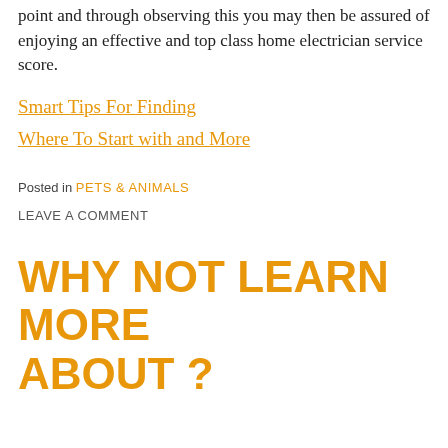point and through observing this you may then be assured of enjoying an effective and top class home electrician service score.
Smart Tips For Finding
Where To Start with and More
Posted in PETS & ANIMALS
LEAVE A COMMENT
WHY NOT LEARN MORE ABOUT ?